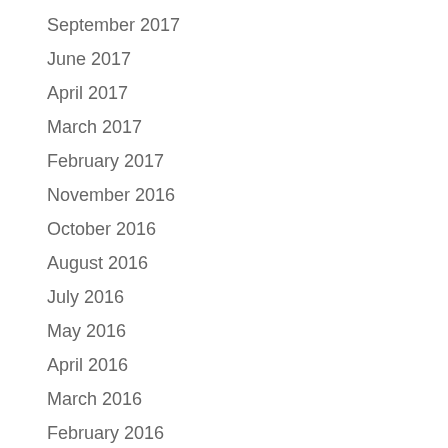September 2017
June 2017
April 2017
March 2017
February 2017
November 2016
October 2016
August 2016
July 2016
May 2016
April 2016
March 2016
February 2016